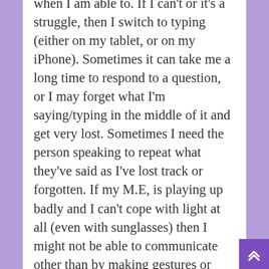when I am able to. If I can't or it's a struggle, then I switch to typing (either on my tablet, or on my iPhone). Sometimes it can take me a long time to respond to a question, or I may forget what I'm saying/typing in the middle of it and get very lost. Sometimes I need the person speaking to repeat what they've said as I've lost track or forgotten. If my M.E, is playing up badly and I can't cope with light at all (even with sunglasses) then I might not be able to communicate other than by making gestures or possibly spelling words out on Johan's hand with my finger. There are times when I can't understand anything that anyone is saying, and I get very confused and scared. If you're trying to communicate with me, then please accept it might not go well at all times, but I really appreciate it when you try to make it easier for me.